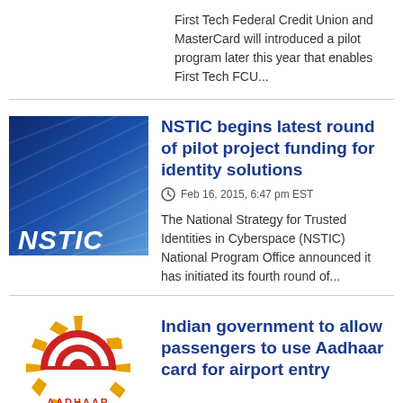First Tech Federal Credit Union and MasterCard will introduced a pilot program later this year that enables First Tech FCU...
[Figure (logo): NSTIC logo — blue gradient background with diagonal lines and white bold italic NSTIC text at bottom left]
NSTIC begins latest round of pilot project funding for identity solutions
Feb 16, 2015, 6:47 pm EST
The National Strategy for Trusted Identities in Cyberspace (NSTIC) National Program Office announced it has initiated its fourth round of...
[Figure (logo): Aadhaar logo — sun with rays in yellow/orange, concentric rainbow arcs in red/white below, AADHAAR text at bottom]
Indian government to allow passengers to use Aadhaar card for airport entry